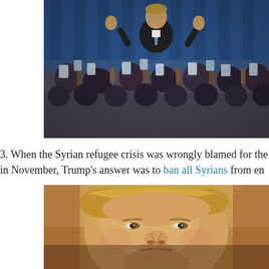[Figure (photo): A man in a dark suit with a blue tie giving thumbs up with both hands on a stage with a blue curtain backdrop, surrounded by a crowd holding up smartphones to take photos.]
3. When the Syrian refugee crisis was wrongly blamed for the in November, Trump's answer was to ban all Syrians from en
[Figure (photo): Close-up portrait photo of Donald Trump's face with his mouth slightly open, taken against a gold/warm-toned background.]